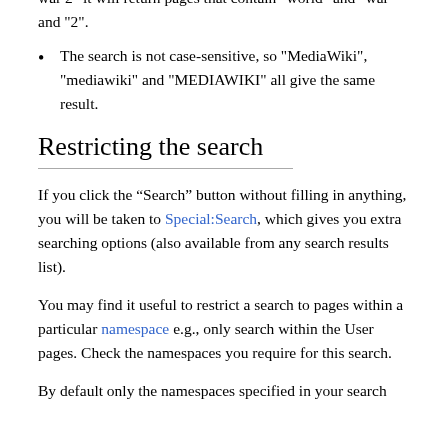looks for each word individually. e.g., if you enter "world war 2" it will return pages that contain "world" and "war" and "2".
The search is not case-sensitive, so "MediaWiki", "mediawiki" and "MEDIAWIKI" all give the same result.
Restricting the search
If you click the “Search” button without filling in anything, you will be taken to Special:Search, which gives you extra searching options (also available from any search results list).
You may find it useful to restrict a search to pages within a particular namespace e.g., only search within the User pages. Check the namespaces you require for this search.
By default only the namespaces specified in your search